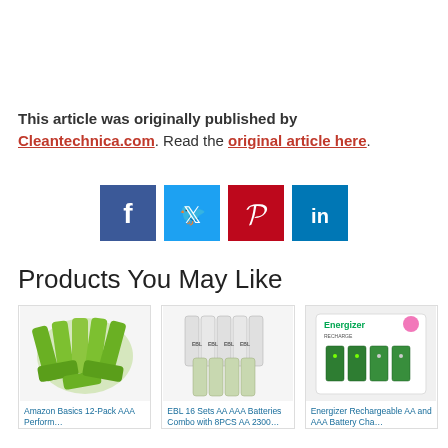This article was originally published by Cleantechnica.com. Read the original article here.
[Figure (infographic): Four social media share buttons: Facebook (dark blue, f), Twitter (light blue, bird icon), Pinterest (red, P), LinkedIn (blue, in)]
Products You May Like
[Figure (photo): Amazon Basics 12-Pack AAA rechargeable green batteries clustered together]
Amazon Basics 12-Pack AAA Perform…
[Figure (photo): EBL 16 Sets AA AAA Batteries Combo white and green batteries stacked]
EBL 16 Sets AA AAA Batteries Combo with 8PCS AA 2300…
[Figure (photo): Energizer Rechargeable AA and AAA Battery Charger in green and white packaging]
Energizer Rechargeable AA and AAA Battery Cha…